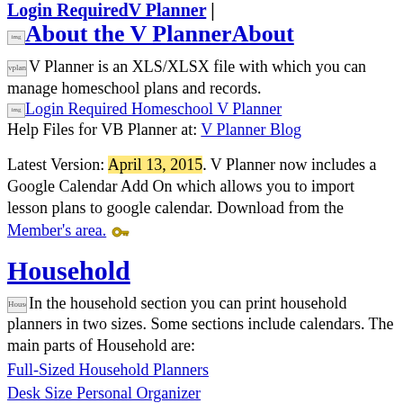About the V PlannerAbout
V Planner is an XLS/XLSX file with which you can manage homeschool plans and records.
Help Files for VB Planner at: V Planner Blog
Latest Version: April 13, 2015. V Planner now includes a Google Calendar Add On which allows you to import lesson plans to google calendar. Download from the Member's area.
Household
In the household section you can print household planners in two sizes. Some sections include calendars. The main parts of Household are:
Full-Sized Household Planners
Desk Size Personal Organizer
Purse Sized Booklet
Small Desk Calendar